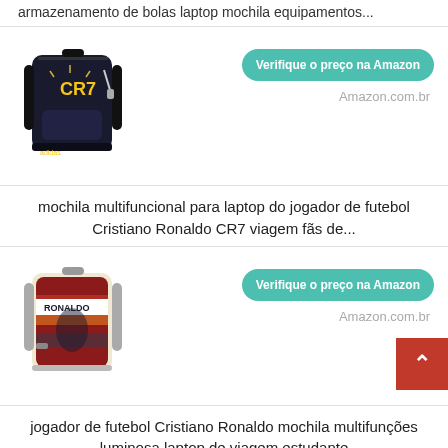armazenamento de bolas laptop mochila equipamentos...
[Figure (photo): CR7 black backpack with USB port and yellow CR7 logo]
Verifique o preço na Amazon
Amazon.com.br
mochila multifuncional para laptop do jogador de futebol Cristiano Ronaldo CR7 viagem fãs de...
[Figure (photo): Colorful Cristiano Ronaldo RONALDO printed backpack]
Verifique o preço na Amazon
Amazon.com.br
jogador de futebol Cristiano Ronaldo mochila multifunções luminosa laptop de viagem estudante
[Figure (photo): Another Cristiano Ronaldo themed backpack at bottom]
Verifique o preço na Amazon
Amazon.com.br